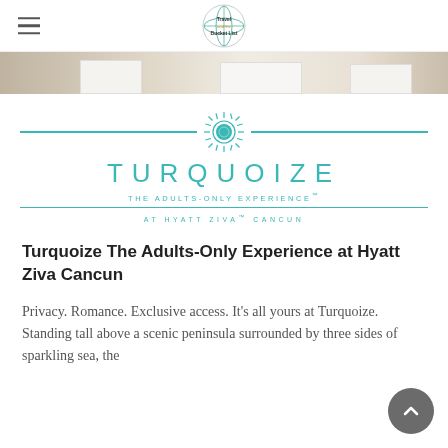Travel Bucket List logo with hamburger menu
[Figure (photo): Hero image strip showing a room interior with white furniture on wooden floor]
[Figure (logo): Turquoize – The Adults-Only Experience at Hyatt Ziva Cancun brand logo with teal sun icon and horizontal lines]
Turquoize The Adults-Only Experience at Hyatt Ziva Cancun
Privacy. Romance. Exclusive access. It's all yours at Turquoize. Standing tall above a scenic peninsula surrounded by three sides of sparkling sea, the